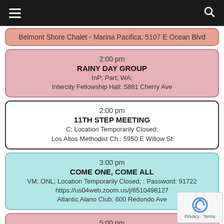≡  🔍
Belmont Shore Chalet - Marina Pacifica: 5107 E Ocean Blvd
2:00 pm
RAINY DAY GROUP
InP; Part; WA;
Intercity Fellowship Hall: 5881 Cherry Ave
2:00 pm
11TH STEP MEETING
C; Location Temporarily Closed;
Los Altos Methodist Ch.: 5950 E Willow St
3:00 pm
COME ONE, COME ALL
VM; ONL; Location Temporarily Closed; : Password: 91722
https://us04web.zoom.us/j/6510498127
Atlantic Alano Club: 600 Redondo Ave
5:00 pm
BIG MIKE HAPPY HOUR